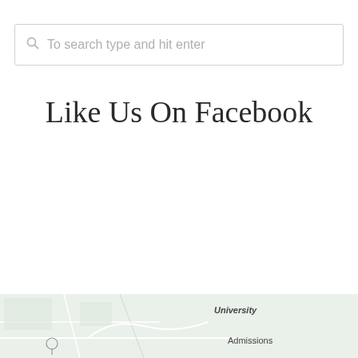To search type and hit enter
Like Us On Facebook
[Figure (map): Partial map showing University and Admissions labels at bottom of page]